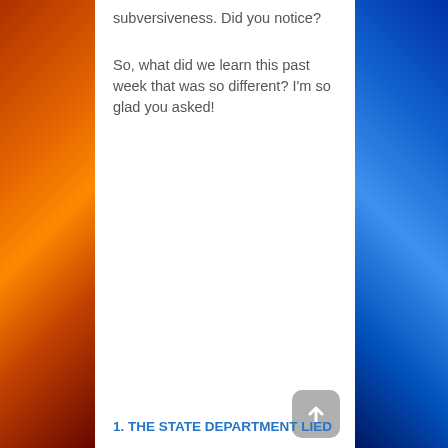subversiveness. Did you notice?
So, what did we learn this past week that was so different? I'm so glad you asked!
1. THE STATE DEPARTMENT LIED